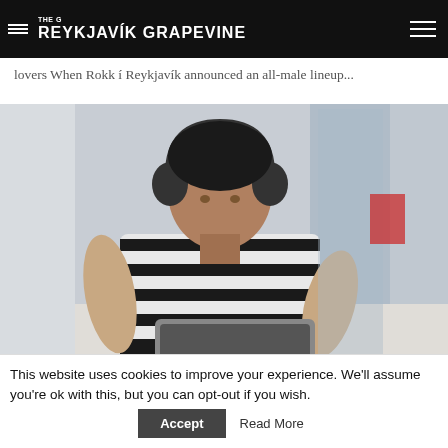THE G REYKJAVÍK GRAPEVINE
lovers When Rokk í Reykjavík announced an all-male lineup...
[Figure (photo): A young woman wearing black headphones and a black-and-white striped sweater sitting against a wall, working on a laptop computer.]
This website uses cookies to improve your experience. We'll assume you're ok with this, but you can opt-out if you wish. Accept  Read More